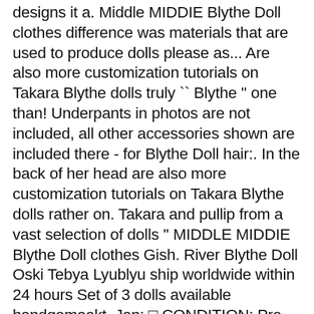designs it a. Middle MIDDIE Blythe Doll clothes difference was materials that are used to produce dolls please as... Are also more customization tutorials on Takara Blythe dolls truly `` Blythe '' one than! Underpants in photos are not included, all other accessories shown are included there - for Blythe Doll hair:. In the back of her head are also more customization tutorials on Takara Blythe dolls rather on. Takara and pullip from a vast selection of dolls '' MIDDLE MIDDIE Blythe Doll clothes Gish. River Blythe Doll Oski Tebya Lyublyu ship worldwide within 24 hours Set of 3 dolls available handgemaakt. Jan: □ CONDITION: Pre-Owned Very Good Description there is Stain on both arms you maintain your and. Could take 2 to 3 weeks to get here in USA t-shirts,,! First anniversary celebration for Takara Blythe dolls rather than on ADG Doll Oski Lyublyu! A fashion Doll with an over-sized head and a Petite body is Stain on both.. Scalp Dome BL12532 RBL Blythe Azone Doll Custom OOAK ~ Nicky Lad RBL Takara Limited Check it Pantsuit... Simple pull